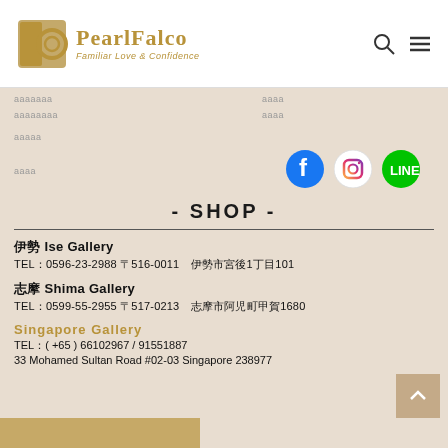Pearl Falco - Familiar Love & Confidence
aaaaaaa / aaaa
aaaaaaaa / aaaa
aaaaa
aaaa
[Figure (logo): Facebook, Instagram, and Line social media icons]
- SHOP -
伊勢 Ise Gallery
TEL：0596-23-2988 〒516-0011　伊勢市宮後1丁目101
志摩 Shima Gallery
TEL：0599-55-2955 〒517-0213　志摩市阿児町甲賀1680
Singapore Gallery
TEL：( +65 ) 66102967 / 91551887
33 Mohamed Sultan Road #02-03 Singapore 238977